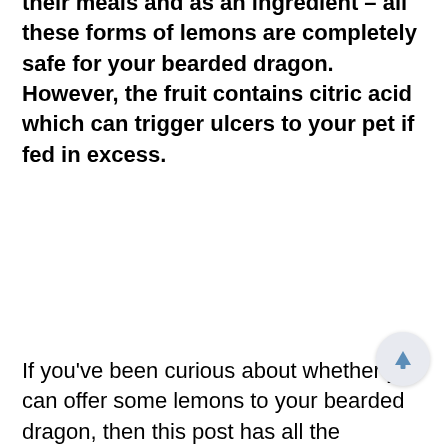their meals and as an ingredient – all these forms of lemons are completely safe for your bearded dragon. However, the fruit contains citric acid which can trigger ulcers to your pet if fed in excess.
If you've been curious about whether you can offer some lemons to your bearded dragon, then this post has all the answers you need.
Being a citrus fruit, Lemons contain high amounts of oxalic acid, making them unhealthy to your beardie. The acidity might trigger ulcers which can be deadly in the long